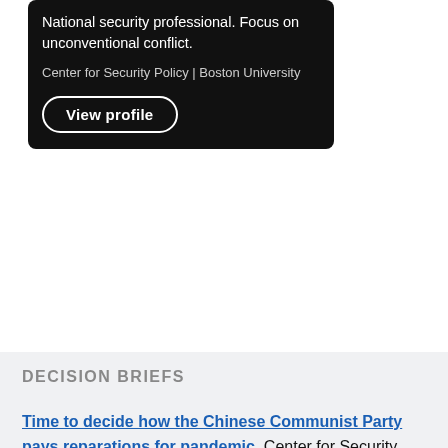National security professional. Focus on unconventional conflict.
Center for Security Policy | Boston University
View profile
DECISION BRIEFS
Time to decide how the Chinese Communist Party pays reparations for pandemic, Center for Security Policy, Decision Brief 2020.001, April 9, 2020.
President Trump must declassify Obama's secret PSD-11 strategy to support the Muslim Brotherhood, Center for Security Policy, Decision Brief 2018.008, November 26, 2018.